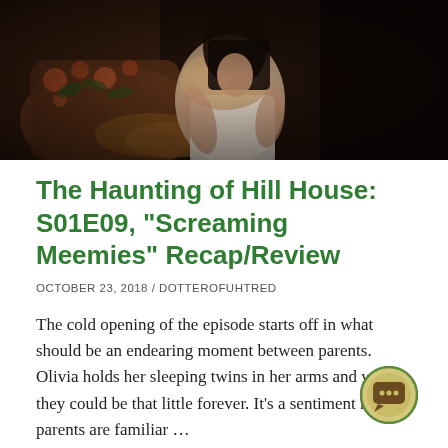[Figure (photo): Dark atmospheric photo of a woman in a white dress sitting in a floral-upholstered chair, dimly lit scene]
The Haunting of Hill House: S01E09, “Screaming Meemies” Recap/Review
OCTOBER 23, 2018 / DOTTEROFUHTRED
The cold opening of the episode starts off in what should be an endearing moment between parents. Olivia holds her sleeping twins in her arms and wishes they could be that little forever. It’s a sentiment most parents are familiar …
Continue reading